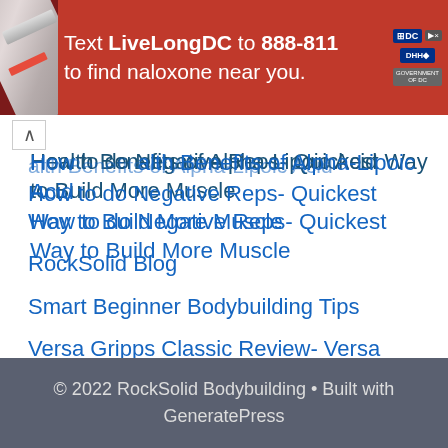[Figure (other): Advertisement banner: Text LiveLongDC to 888-811 to find naloxone near you. Red background with syringe image on left, DC/DHH logos on right.]
Health Benefits of Alpha-Lipoic Acid
How to do Negative Reps- Quickest Way to Build More Muscle
RockSolid Blog
Smart Beginner Bodybuilding Tips
Versa Gripps Classic Review- Versa Grips Lifting Straps
© 2022 RockSolid Bodybuilding • Built with GeneratePress